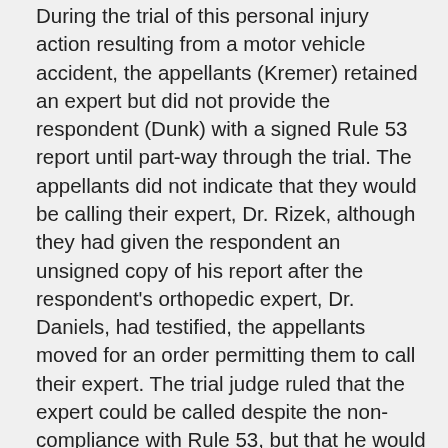During the trial of this personal injury action resulting from a motor vehicle accident, the appellants (Kremer) retained an expert but did not provide the respondent (Dunk) with a signed Rule 53 report until part-way through the trial. The appellants did not indicate that they would be calling their expert, Dr. Rizek, although they had given the respondent an unsigned copy of his report after the respondent's orthopedic expert, Dr. Daniels, had testified, the appellants moved for an order permitting them to call their expert. The trial judge ruled that the expert could be called despite the non-compliance with Rule 53, but that he would be restricted to the four corners of his report. In particular, he would not be permitted to comment on developments that had arisen after he had prepared his report. The respondent's experts had served supplementary reports in view of updated medical information and the appellants' expert had not filed a response. On appeal, the appellants say this order unfairly limited the scope of Dr. Rizek's evidence as he was unable to comment on Dr. Daniels'